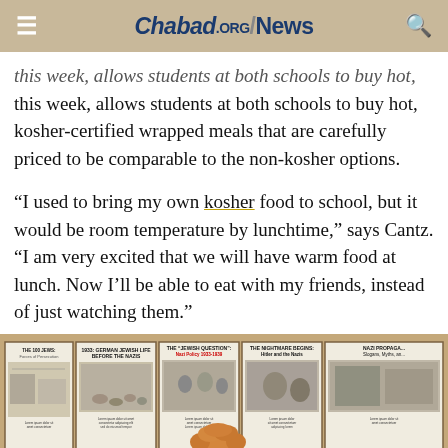Chabad.ORG/News
this week, allows students at both schools to buy hot, kosher-certified wrapped meals that are carefully priced to be comparable to the non-kosher options.
“I used to bring my own kosher food to school, but it would be room temperature by lunchtime,” says Cantz. “I am very excited that we will have warm food at lunch. Now I’ll be able to eat with my friends, instead of just watching them.”
[Figure (photo): A person with curly hair viewed from behind, looking at museum display panels about Nazi Germany and Jewish history, including panels titled '1933: German Jewish Life Before the Nazis', 'The Jewish Question: Nazi Policy 1933-1939', 'The Nightmare Begins: Hitler and the Nazis', 'Nazi Propaganda: Slogans, Myths...']